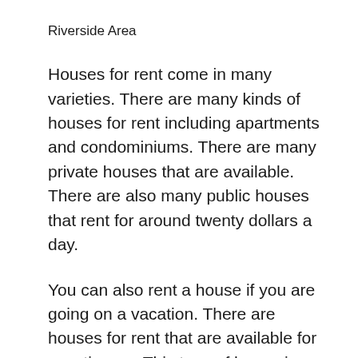Riverside Area
Houses for rent come in many varieties. There are many kinds of houses for rent including apartments and condominiums. There are many private houses that are available. There are also many public houses that rent for around twenty dollars a day.
You can also rent a house if you are going on a vacation. There are houses for rent that are available for vacationers. This type of house is located close to the beach so that the tourists can have easy access to the beach. This type of house is also located near many shopping malls. These stores are very close to the beach and they also